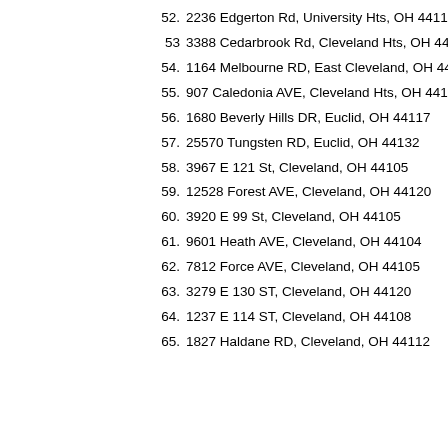52.   2236 Edgerton Rd, University Hts, OH 44118
53   3388 Cedarbrook Rd, Cleveland Hts, OH 4411
54.   1164 Melbourne RD, East Cleveland, OH 4411
55.   907 Caledonia AVE, Cleveland Hts, OH 44112
56.   1680 Beverly Hills DR, Euclid, OH 44117
57.   25570 Tungsten RD, Euclid, OH 44132
58.   3967 E 121 St, Cleveland, OH 44105
59.   12528 Forest AVE, Cleveland, OH 44120
60.   3920 E 99 St, Cleveland, OH 44105
61.   9601 Heath AVE, Cleveland, OH 44104
62.   7812 Force AVE, Cleveland, OH 44105
63.   3279 E 130 ST, Cleveland, OH 44120
64.   1237 E 114 ST, Cleveland, OH 44108
65.   1827 Haldane RD, Cleveland, OH 44112